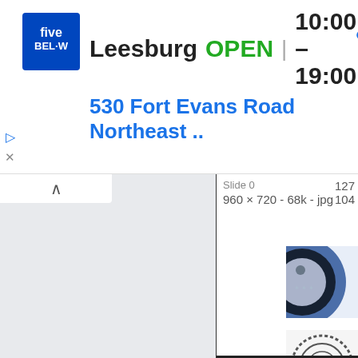[Figure (screenshot): Five Below store ad banner showing Leesburg location, OPEN status, hours 10:00-19:00, address 530 Fort Evans Road Northeast, with navigation icon]
960 × 720 - 68k - jpg
127
104
[Figure (photo): Partial circular blue coin/medal thumbnail]
[Figure (photo): Circular seal/stamp thumbnail]
con
lunaticoutpost.com
[Image: 535c7c801577f.jpg]
1224 × 1224 - 518k - jpg
this
sch
863